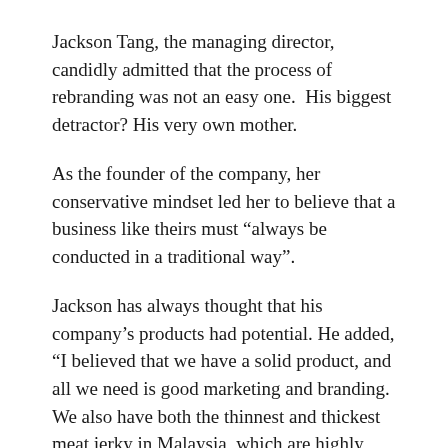Jackson Tang, the managing director, candidly admitted that the process of rebranding was not an easy one.  His biggest detractor? His very own mother.
As the founder of the company, her conservative mindset led her to believe that a business like theirs must “always be conducted in a traditional way”.
Jackson has always thought that his company’s products had potential. He added, “I believed that we have a solid product, and all we need is good marketing and branding. We also have both the thinnest and thickest meat jerky in Malaysia, which are highly popular among younger generation.”
As part of their rebranding, Ju Xiang has ramped up their social media marketing. One of their